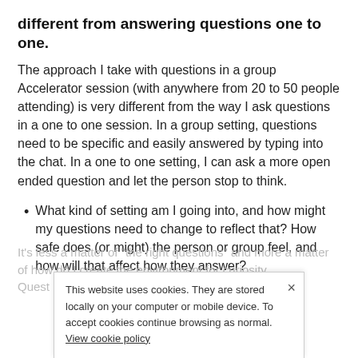different from answering questions one to one.
The approach I take with questions in a group Accelerator session (with anywhere from 20 to 50 people attending) is very different from the way I ask questions in a one to one session. In a group setting, questions need to be specific and easily answered by typing into the chat. In a one to one setting, I can ask a more open ended question and let the person stop to think.
What kind of setting am I going into, and how might my questions need to change to reflect that? How safe does (or might) the person or group feel, and how will that affect how they answer?
It’s less a matter of “the right questions” and more a matter of how do I create the environment for curiosity. Quest they are asked
This website uses cookies. They are stored locally on your computer or mobile device. To accept cookies continue browsing as normal. View cookie policy